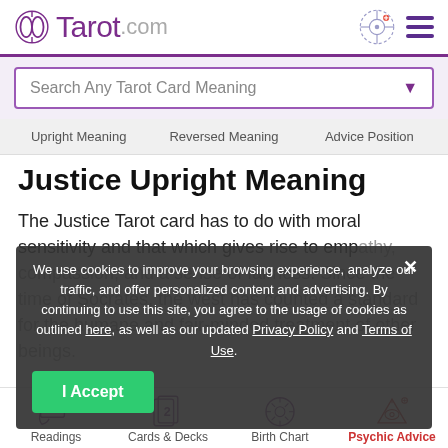Tarot.com
Search Any Tarot Card Meaning
Upright Meaning   Reversed Meaning   Advice Position
Justice Upright Meaning
The Justice Tarot card has to do with moral sensitivity and that which gives rise to empathy, compassion, and a sense of fairness. Since the time of Socrates, the west has counted a standard for the humane and fair-minded treatment of other beings.
We use cookies to improve your browsing experience, analyze our traffic, and offer personalized content and advertising. By continuing to use this site, you agree to the usage of cookies as outlined here, as well as our updated Privacy Policy and Terms of Use.
I Accept
Readings   Cards & Decks   Birth Chart   Psychic Advice